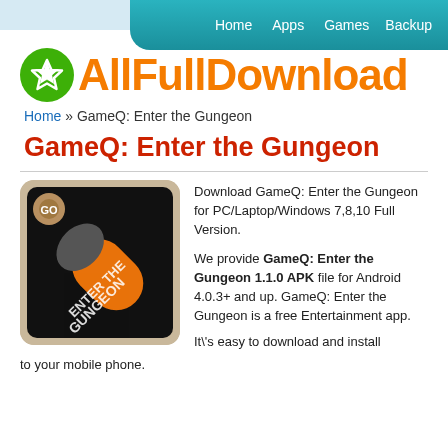Home  Apps  Games  Backup
[Figure (logo): AllFullDownload logo: green circle with white star, orange bold text 'AllFullDownload']
Home » GameQ: Enter the Gungeon
GameQ: Enter the Gungeon
[Figure (photo): App icon for GameQ: Enter the Gungeon — black background with orange bullet/cartridge and text 'ENTER THE GUNGEON', beige rounded square frame]
Download GameQ: Enter the Gungeon for PC/Laptop/Windows 7,8,10 Full Version.

We provide GameQ: Enter the Gungeon 1.1.0 APK file for Android 4.0.3+ and up. GameQ: Enter the Gungeon is a free Entertainment app.

It\'s easy to download and install to your mobile phone.